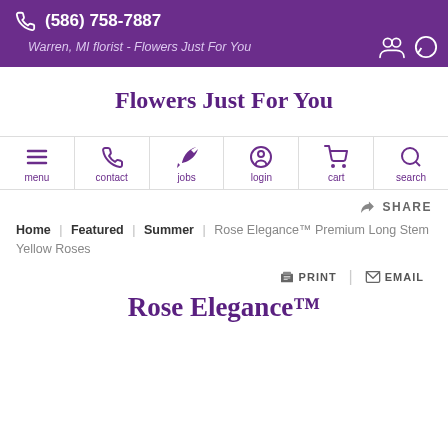(586) 758-7887 | Warren, MI florist - Flowers Just For You
Flowers Just For You
menu | contact | jobs | login | cart | search
SHARE
Home | Featured | Summer | Rose Elegance™ Premium Long Stem Yellow Roses
PRINT | EMAIL
Rose Elegance™